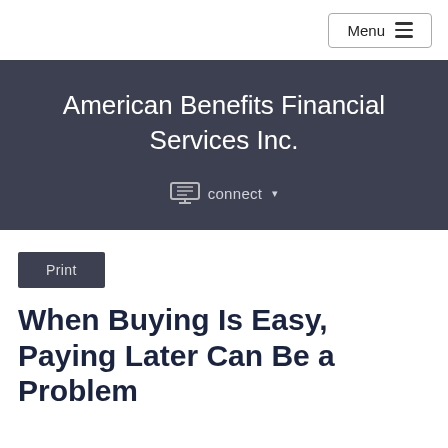Menu
American Benefits Financial Services Inc.
connect
Print
When Buying Is Easy, Paying Later Can Be a Problem